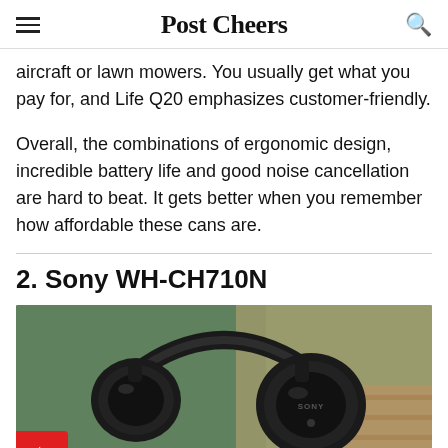Post Cheers
aircraft or lawn mowers. You usually get what you pay for, and Life Q20 emphasizes customer-friendly.
Overall, the combinations of ergonomic design, incredible battery life and good noise cancellation are hard to beat. It gets better when you remember how affordable these cans are.
2. Sony WH-CH710N
[Figure (photo): Black Sony WH-CH710N over-ear headphones resting on a green jacket with a wooden floor visible in the background. The SONY logo is visible on the ear cup.]